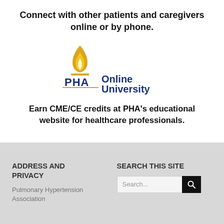Connect with other patients and caregivers online or by phone.
[Figure (logo): PHA Online University logo with flame icon and text 'PHA Online University' in blue and gold]
Earn CME/CE credits at PHA's educational website for healthcare professionals.
ADDRESS AND PRIVACY
SEARCH THIS SITE
Pulmonary Hypertension Association